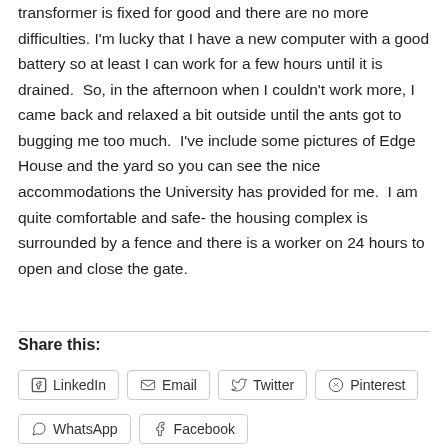transformer is fixed for good and there are no more difficulties. I'm lucky that I have a new computer with a good battery so at least I can work for a few hours until it is drained.  So, in the afternoon when I couldn't work more, I came back and relaxed a bit outside until the ants got to bugging me too much.  I've include some pictures of Edge House and the yard so you can see the nice accommodations the University has provided for me.  I am quite comfortable and safe- the housing complex is surrounded by a fence and there is a worker on 24 hours to open and close the gate.
Share this:
LinkedIn
Email
Twitter
Pinterest
WhatsApp
Facebook